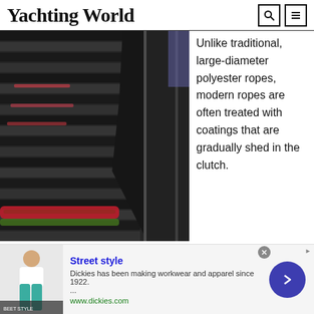Yachting World
[Figure (photo): Close-up photo of a rope caught in a winch or clutch mechanism, with a red and green braided rope visible between dark metal drum ridges]
Unlike traditional, large-diameter polyester ropes, modern ropes are often treated with coatings that are gradually shed in the clutch.
[Figure (other): Advertisement banner for Dickies brand: Street style - Dickies has been making workwear and apparel since 1922. www.dickies.com]